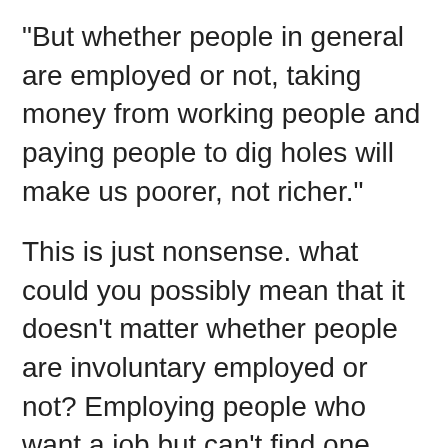"But whether people in general are employed or not, taking money from working people and paying people to dig holes will make us poorer, not richer."
This is just nonsense. what could you possibly mean that it doesn't matter whether people are involuntary employed or not? Employing people who want a job but can't find one gives them a source of income and means producing more output then would otherwise be produced. It is true that the activity of digging holes is not directly